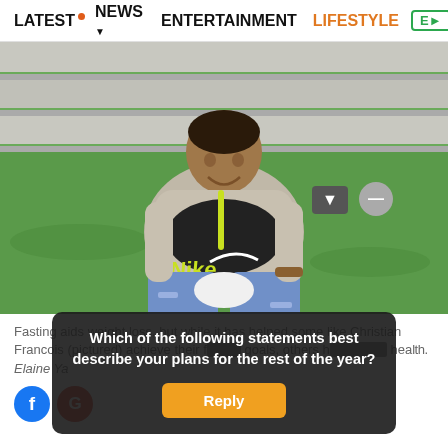LATEST • NEWS ▾ ENTERTAINMENT LIFESTYLE E>
[Figure (photo): Young man sitting on grass in front of stone steps, wearing a grey Nike hoodie and ripped jeans, smiling at the camera.]
Fasting aids weight loss, but while it has helped some like Christian Francois (pictured) achieve their fitness goals, others have found it can be damaging to their health. Elaine Ya...
Which of the following statements best describe your plans for the rest of the year?
Reply